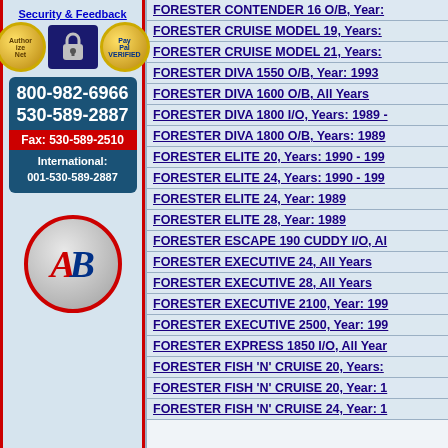Security & Feedback
FORESTER CONTENDER 16 O/B, Year:
FORESTER CRUISE MODEL 19, Years:
FORESTER CRUISE MODEL 21, Years:
FORESTER DIVA 1550 O/B, Year: 1993
FORESTER DIVA 1600 O/B, All Years
FORESTER DIVA 1800 I/O, Years: 1989 -
FORESTER DIVA 1800 O/B, Years: 1989
FORESTER ELITE 20, Years: 1990 - 199
FORESTER ELITE 24, Years: 1990 - 199
FORESTER ELITE 24, Year: 1989
FORESTER ELITE 28, Year: 1989
FORESTER ESCAPE 190 CUDDY I/O, Al
FORESTER EXECUTIVE 24, All Years
FORESTER EXECUTIVE 28, All Years
FORESTER EXECUTIVE 2100, Year: 199
FORESTER EXECUTIVE 2500, Year: 199
FORESTER EXPRESS 1850 I/O, All Year
FORESTER FISH 'N' CRUISE 20, Years:
FORESTER FISH 'N' CRUISE 20, Year: 1
FORESTER FISH 'N' CRUISE 24, Year: 1